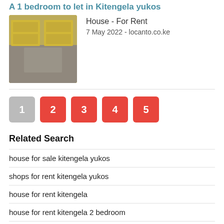A 1 bedroom to let in Kitengela yukos
[Figure (photo): Blurred photo of a room with yellow kitchen cabinets]
House - For Rent
7 May 2022 - locanto.co.ke
[Figure (other): Pagination buttons: 1 (grey/current), 2, 3, 4, 5 (red)]
Related Search
house for sale kitengela yukos
shops for rent kitengela yukos
house for rent kitengela
house for rent kitengela 2 bedroom